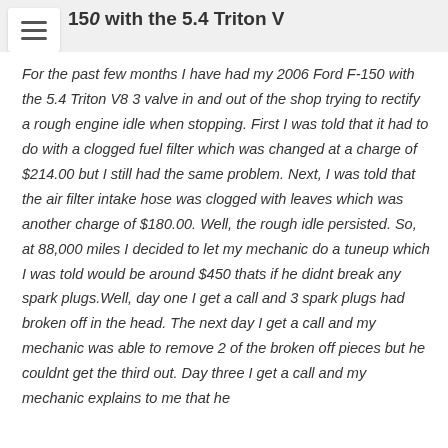150 with the 5.4 Triton V
For the past few months I have had my 2006 Ford F-150 with the 5.4 Triton V8 3 valve in and out of the shop trying to rectify a rough engine idle when stopping. First I was told that it had to do with a clogged fuel filter which was changed at a charge of $214.00 but I still had the same problem. Next, I was told that the air filter intake hose was clogged with leaves which was another charge of $180.00. Well, the rough idle persisted. So, at 88,000 miles I decided to let my mechanic do a tuneup which I was told would be around $450 thats if he didnt break any spark plugs.Well, day one I get a call and 3 spark plugs had broken off in the head. The next day I get a call and my mechanic was able to remove 2 of the broken off pieces but he couldnt get the third out. Day three I get a call and my mechanic explains to me that he